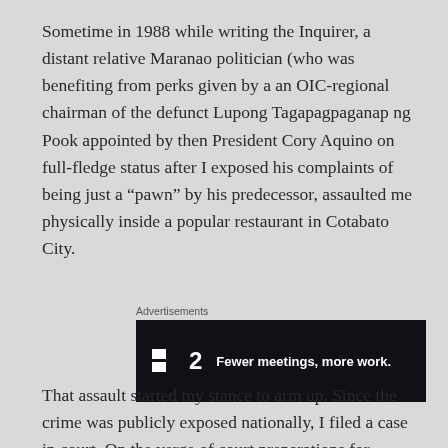Sometime in 1988 while writing the Inquirer, a distant relative Maranao politician (who was benefiting from perks given by a an OIC-regional chairman of the defunct Lupong Tagapagpaganap ng Pook appointed by then President Cory Aquino on full-fledge status after I exposed his complaints of being just a “pawn” by his predecessor, assaulted me physically inside a popular restaurant in Cotabato City.
[Figure (other): Advertisement banner with dark background showing a logo with two squares and the number 2, followed by the text 'Fewer meetings, more work.']
That assault started my stance to arm up. Since the crime was publicly exposed nationally, I filed a case in court. On the verge of court preparations for arraignment, the relative-politico brought his clan elders and yielded P30,000-cash indemnity for me to